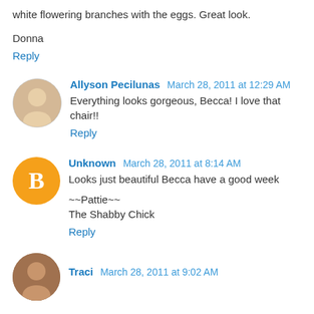white flowering branches with the eggs. Great look.
Donna
Reply
Allyson Pecilunas   March 28, 2011 at 12:29 AM
Everything looks gorgeous, Becca! I love that chair!!
Reply
Unknown   March 28, 2011 at 8:14 AM
Looks just beautiful Becca have a good week

~~Pattie~~
The Shabby Chick
Reply
Traci   March 28, 2011 at 9:02 AM